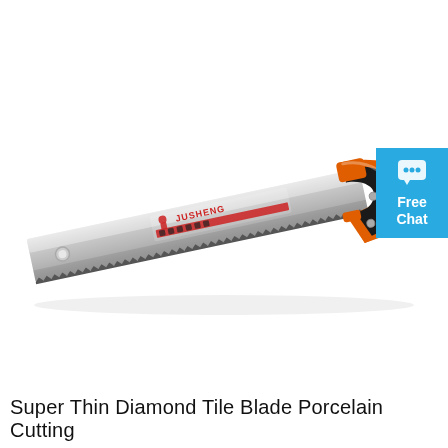[Figure (photo): A hand saw with a long silver serrated blade angled diagonally from lower-left to upper-right. The blade has a brand label reading 'JUSHENG' with icons. The handle is orange and black ergonomic grip. The saw has fine diamond-coated teeth along the bottom edge.]
[Figure (other): A teal/blue chat button badge in the top-right corner with a speech bubble icon and text 'Free Chat']
Super Thin Diamond Tile Blade Porcelain Cutting